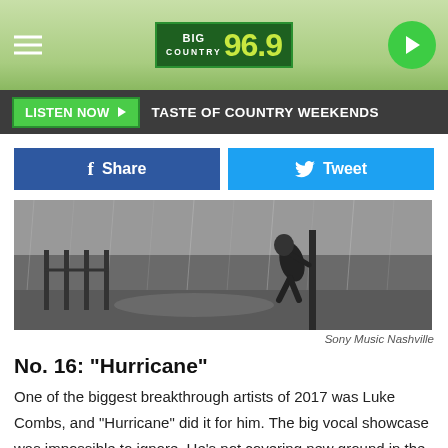Big Country 96.9
LISTEN NOW  TASTE OF COUNTRY WEEKENDS
Share   Tweet
[Figure (photo): Black and white photo of a person struggling against extreme wind and rain, leaning on a pole, in stormy conditions. Credit: Sony Music Nashville]
Sony Music Nashville
No. 16: "Hurricane"
One of the biggest breakthrough artists of 2017 was Luke Combs, and "Hurricane" did it for him. The big vocal showcase was impossible to ignore. He's not covering new ground in the lyrics, but his melody is as arresting as any song on the radio this year!